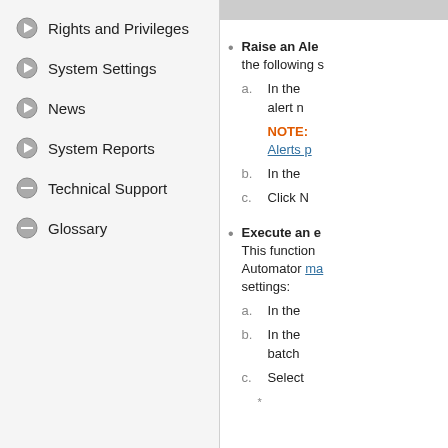Rights and Privileges
System Settings
News
System Reports
Technical Support
Glossary
Raise an Ale... the following s...
a. In the ... alert n...
NOTE: Alerts p...
b. In the ...
c. Click N...
Execute an e... This function... Automator ma... settings:
a. In the ...
b. In the ... batch ...
c. Select...
*